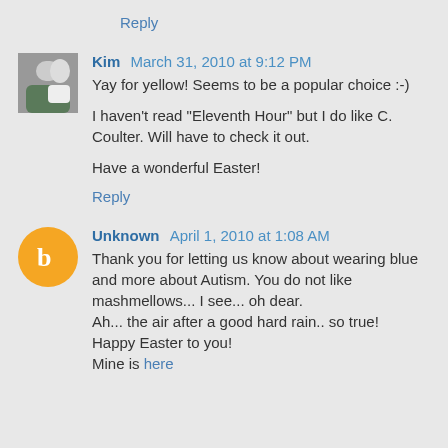Reply
Kim  March 31, 2010 at 9:12 PM
Yay for yellow! Seems to be a popular choice :-)

I haven't read "Eleventh Hour" but I do like C. Coulter. Will have to check it out.

Have a wonderful Easter!
Reply
Unknown  April 1, 2010 at 1:08 AM
Thank you for letting us know about wearing blue and more about Autism. You do not like mashmellows... I see... oh dear.
Ah... the air after a good hard rain.. so true!
Happy Easter to you!
Mine is here